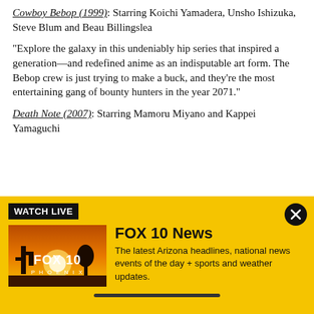Cowboy Bebop (1999): Starring Koichi Yamadera, Unsho Ishizuka, Steve Blum and Beau Billingslea
"Explore the galaxy in this undeniably hip series that inspired a generation—and redefined anime as an indisputable art form. The Bebop crew is just trying to make a buck, and they're the most entertaining gang of bounty hunters in the year 2071."
Death Note (2007): Starring Mamoru Miyano and Kappei Yamaguchi
[Figure (infographic): FOX 10 News Watch Live banner with yellow background, FOX 10 Phoenix thumbnail image showing a desert sunset silhouette, and text describing the latest Arizona headlines, national news events, sports and weather updates.]